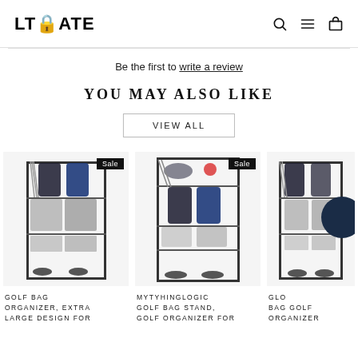LTMATE
Be the first to write a review
YOU MAY ALSO LIKE
VIEW ALL
[Figure (photo): Golf bag organizer rack holding two golf bags with clubs and accessories, Sale badge in top right corner]
GOLF BAG ORGANIZER, EXTRA LARGE DESIGN FOR
[Figure (photo): Mytyhinglogic golf bag stand with golf bags, clubs, hat and ball, Sale badge in top right corner]
MYTYHINGLOGIC GOLF BAG STAND, GOLF ORGANIZER FOR
[Figure (photo): Third golf bag organizer partially visible on right side]
GLO BAG GOLF ORGANIZER